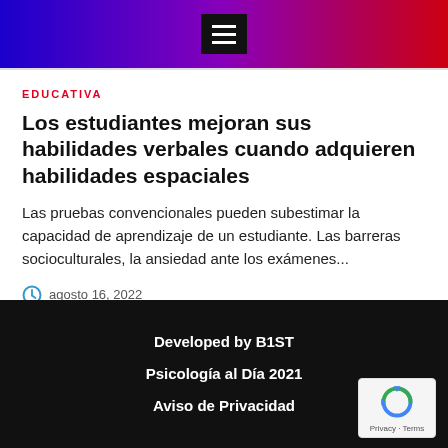Menu header bar with hamburger icon
EDUCATIVA
Los estudiantes mejoran sus habilidades verbales cuando adquieren habilidades espaciales
Las pruebas convencionales pueden subestimar la capacidad de aprendizaje de un estudiante. Las barreras socioculturales, la ansiedad ante los exámenes...
agosto 16, 2022
Developed by B1ST
Psicología al Día 2021
Aviso de Privacidad